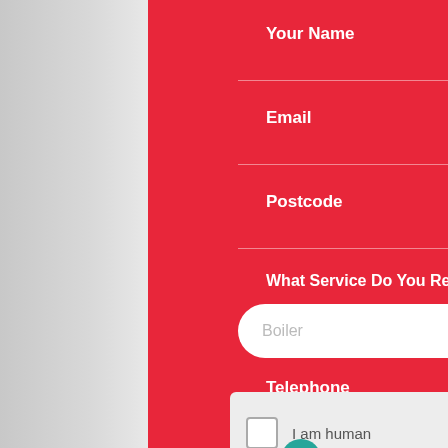Your Name
Email
Postcode
What Service Do You Require
Boiler
Telephone
I am human